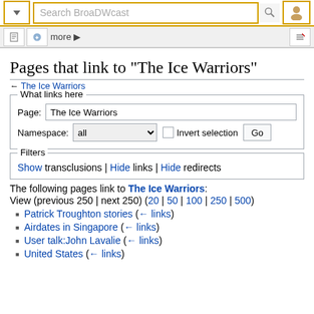Search BroaDWcast
Pages that link to "The Ice Warriors"
← The Ice Warriors
What links here
Page: The Ice Warriors
Namespace: all  Invert selection  Go
Filters
Show transclusions | Hide links | Hide redirects
The following pages link to The Ice Warriors:
View (previous 250 | next 250) (20 | 50 | 100 | 250 | 500)
Patrick Troughton stories  (← links)
Airdates in Singapore  (← links)
User talk:John Lavalie  (← links)
United States  (← links)